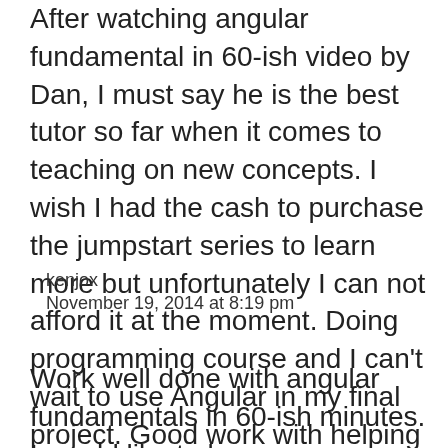After watching angular fundamental in 60-ish video by Dan, I must say he is the best tutor so far when it comes to teaching on new concepts. I wish I had the cash to purchase the jumpstart series to learn more but unfortunately I can not afford it at the moment. Doing programming course and I can't wait to use Angular in my final project. Good work with helping the JS community
kenjox
November 19, 2014 at 8:19 pm
Work well done with angular fundamentals in 60-ish minutes. I would like to learn more